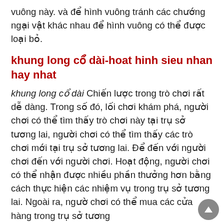vuông này. và để hình vuông tránh các chướng ngại vật khác nhau để hình vuông có thể được loại bỏ.
khung long cổ dài-hoat hinh sieu nhan hay nhat
khung long cổ dài Chiến lược trong trò chơi rất dễ dàng. Trong số đó, lối chơi khám phá, người chơi có thể tìm thấy trò chơi này tại trụ sở tương lai, người chơi có thể tìm thấy các trò chơi mới tại trụ sở tương lai. Để đến với người chơi đến với người chơi. Hoạt động, người chơi có thể nhận được nhiều phần thưởng hơn bằng cách thực hiện các nhiệm vụ trong trụ sở tương lai. Ngoài ra, người chơi có thể mua các cửa hàng trong trụ sở tương